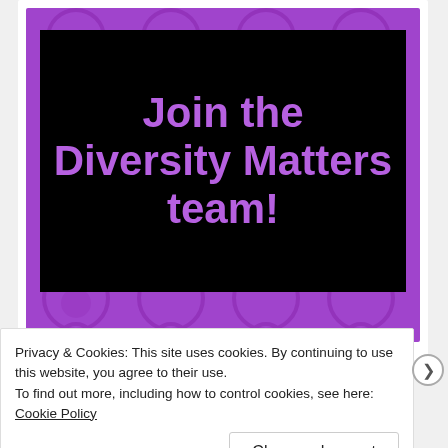[Figure (illustration): Purple background with circular dot pattern. A black rectangle overlaid contains large bold purple text reading 'Join the Diversity Matters team!']
Privacy & Cookies: This site uses cookies. By continuing to use this website, you agree to their use.
To find out more, including how to control cookies, see here: Cookie Policy